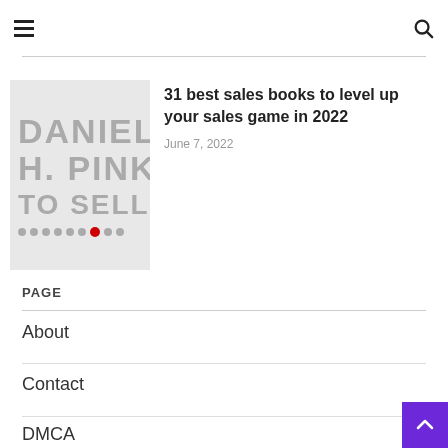Navigation header with hamburger menu and search icon
[Figure (photo): Partial book cover showing 'DANIEL H. PINK TO SELL IS...' text in large gray letters with dots including a red dot]
31 best sales books to level up your sales game in 2022
June 7, 2022
PAGE
About
Contact
DMCA